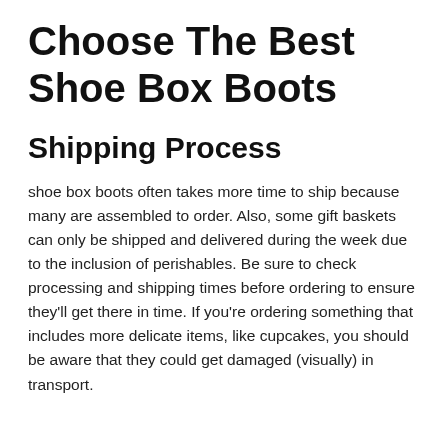Choose The Best Shoe Box Boots
Shipping Process
shoe box boots often takes more time to ship because many are assembled to order. Also, some gift baskets can only be shipped and delivered during the week due to the inclusion of perishables. Be sure to check processing and shipping times before ordering to ensure they'll get there in time. If you're ordering something that includes more delicate items, like cupcakes, you should be aware that they could get damaged (visually) in transport.